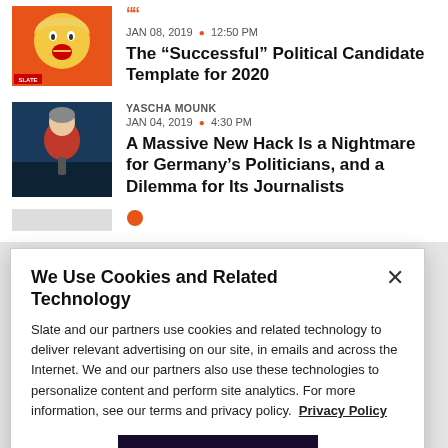[Figure (illustration): Trumpcast podcast logo - orange background with cartoon face, SLATE label at bottom left]
JAN 08, 2019 · 12:50 PM
The “Successful” Political Candidate Template for 2020
[Figure (photo): Photo of Angela Merkel speaking, in red jacket against dark background]
YASCHA MOUNK
JAN 04, 2019 · 4:30 PM
A Massive New Hack Is a Nightmare for Germany’s Politicians, and a Dilemma for Its Journalists
We Use Cookies and Related Technology
Slate and our partners use cookies and related technology to deliver relevant advertising on our site, in emails and across the Internet. We and our partners also use these technologies to personalize content and perform site analytics. For more information, see our terms and privacy policy. Privacy Policy
OK